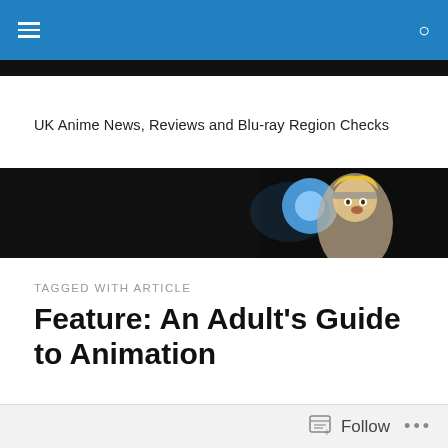UK Anime News, Reviews and Blu-ray Region Checks
[Figure (screenshot): Banner image with dark background showing an anime character (blonde, wearing a headband) with a glowing blue light, partially visible on the right side of the banner.]
TAGGED WITH ARTICLE
Feature: An Adult's Guide to Animation
[Figure (screenshot): Dark blue/black image, bottom portion of an article thumbnail.]